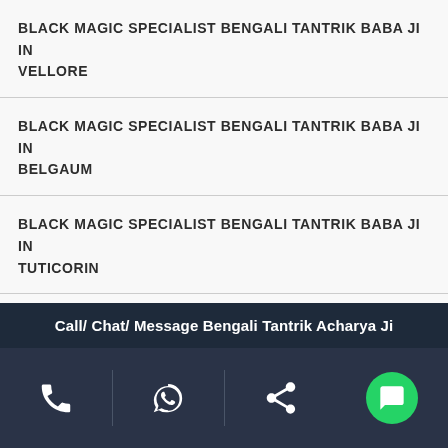BLACK MAGIC SPECIALIST BENGALI TANTRIK BABA JI IN VELLORE
BLACK MAGIC SPECIALIST BENGALI TANTRIK BABA JI IN BELGAUM
BLACK MAGIC SPECIALIST BENGALI TANTRIK BABA JI IN TUTICORIN
BLACK MAGIC SPECIALIST BENGALI TANTRIK BABA JI IN PALAKKAD
BLACK MAGIC SPECIALIST BENGALI TANTRIK BABA JI IN ERODE
Call/ Chat/ Message Bengali Tantrik Acharya Ji